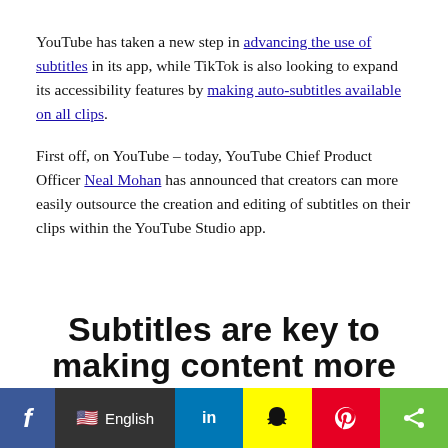YouTube has taken a new step in advancing the use of subtitles in its app, while TikTok is also looking to expand its accessibility features by making auto-subtitles available on all clips.
First off, on YouTube – today, YouTube Chief Product Officer Neal Mohan has announced that creators can more easily outsource the creation and editing of subtitles on their clips within the YouTube Studio app.
Subtitles are key to making content more
[Figure (other): Social media sharing bar with Facebook, language selector (English), LinkedIn, Snapchat, Pinterest, and share icons]